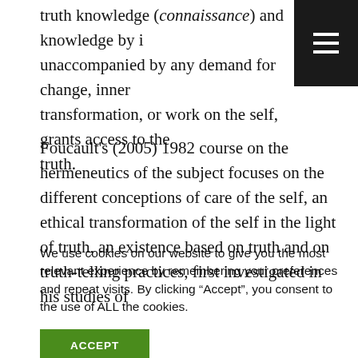truth knowledge (connaissance) and knowledge by i... unaccompanied by any demand for change, inner transformation, or work on the self, grants access to the truth.
Foucault's (2005) 1982 course on the hermeneutics of the subject focuses on the different conceptions of care of the self, an ethical transformation of the self in the light of truth, an existence based on truth and on truth-telling practices, first investigated in his studies of
We use cookies on our website to give you the most relevant experience by remembering your preferences and repeat visits. By clicking “Accept”, you consent to the use of ALL the cookies.